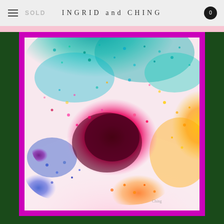INGRID and CHING
SOLD
[Figure (illustration): Abstract colorful painting in a magenta/pink frame against dark green background. The painting features an explosion of color with pinks, reds, teals, yellows, blues, oranges, and purples in a pointillist/impressionist style. The center is dominated by deep reds and magentas, with teal and blue-green at the top, yellows and oranges on the right, and blue/purple at the bottom left.]